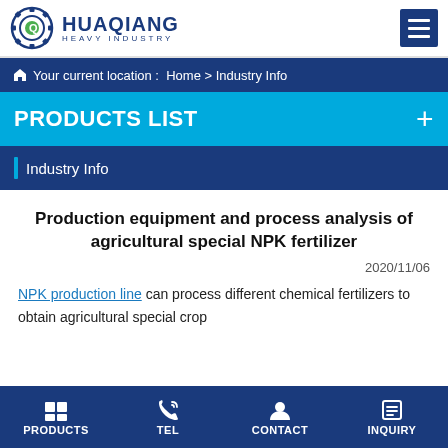HUAQIANG HEAVY INDUSTRY
Your current location : Home > Industry Info
PRODUCTS LIST
Industry Info
Production equipment and process analysis of agricultural special NPK fertilizer
2020/11/06
NPK production line can process different chemical fertilizers to obtain agricultural special crop
PRODUCTS  TEL  CONTACT  INQUIRY